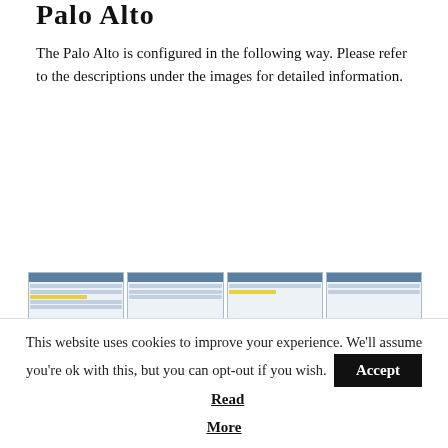Palo Alto
The Palo Alto is configured in the following way. Please refer to the descriptions under the images for detailed information.
[Figure (screenshot): 2x4 grid of 8 screenshots showing Palo Alto firewall configuration interface with dialog boxes highlighted in yellow]
This website uses cookies to improve your experience. We'll assume you're ok with this, but you can opt-out if you wish. Accept Read More